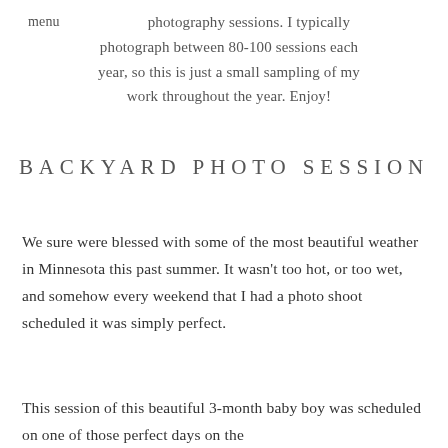menu  photography sessions. I typically photograph between 80-100 sessions each year, so this is just a small sampling of my work throughout the year. Enjoy!
Backyard Photo Session
We sure were blessed with some of the most beautiful weather in Minnesota this past summer. It wasn't too hot, or too wet, and somehow every weekend that I had a photo shoot scheduled it was simply perfect.
This session of this beautiful 3-month baby boy was scheduled on one of those perfect days on the